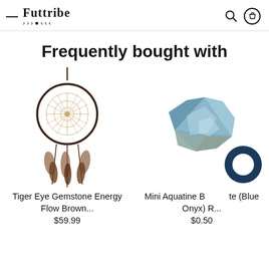Futtribe (logo with moon phases)
Frequently bought with
[Figure (photo): Dream catcher with brown feathers and intricate woven center]
Tiger Eye Gemstone Energy Flow Brown...
$59.99
[Figure (photo): Rough blue aquatine / blue onyx gemstone]
Mini Aquatine Bl...te (Blue Onyx) R...
$0.50